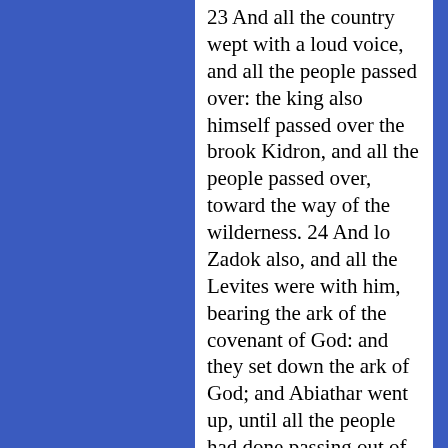23 And all the country wept with a loud voice, and all the people passed over: the king also himself passed over the brook Kidron, and all the people passed over, toward the way of the wilderness. 24 And lo Zadok also, and all the Levites were with him, bearing the ark of the covenant of God: and they set down the ark of God; and Abiathar went up, until all the people had done passing out of the city. 25 And the king